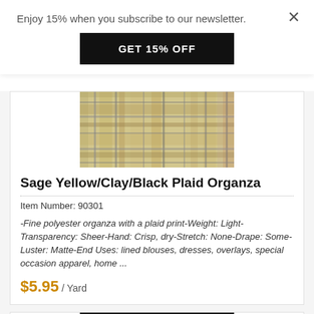Enjoy 15% when you subscribe to our newsletter.
GET 15% OFF
[Figure (photo): Close-up photo of plaid organza fabric in sage yellow, clay, and black colors]
Sage Yellow/Clay/Black Plaid Organza
Item Number: 90301
-Fine polyester organza with a plaid print-Weight: Light-Transparency: Sheer-Hand: Crisp, dry-Stretch: None-Drape: Some-Luster: Matte-End Uses: lined blouses, dresses, overlays, special occasion apparel, home ...
$5.95 / Yard
[Figure (photo): Partial view of floral fabric with red roses and colorful medallion patterns on black background]